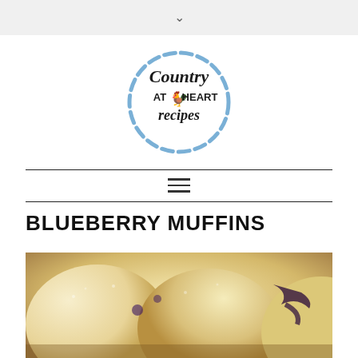[Figure (logo): Country at Heart Recipes circular logo with dashed blue border and rooster graphic]
BLUEBERRY MUFFINS
[Figure (photo): Close-up photo of blueberry muffins with golden tops and visible blueberry filling]